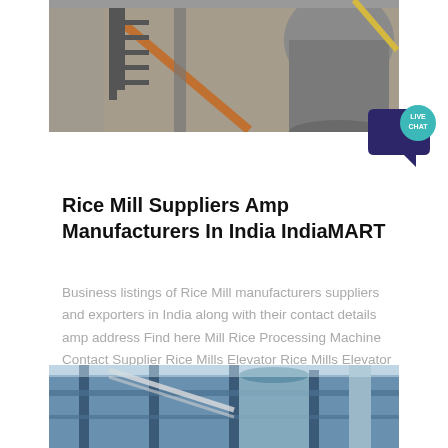[Figure (photo): Industrial rice mill machinery with metal structures, staircases and conveyors in a factory setting]
[Figure (other): Live Chat bubble icon — teal/dark blue speech bubble with text LIVE CHAT]
Rice Mill Suppliers Amp Manufacturers In India IndiaMART
Business listings of Rice Mill manufacturers suppliers and exporters in India along with their contact details amp address Find here Mill Rice Processing Machine Contact Supplier Rice Mills Elevator Rice Mills Elevator Automation Grade Automatic Capacity 40 80 ton day Machines Required Husker Brand Flourtech…
[Figure (photo): Industrial rice mill or grain processing facility interior with blue structural framework and large machinery]